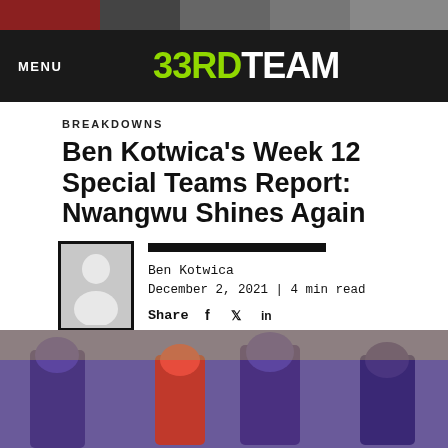33RD TEAM — MENU
BREAKDOWNS
Ben Kotwica's Week 12 Special Teams Report: Nwangwu Shines Again
Ben Kotwica
December 2, 2021 | 4 min read
Share
[Figure (photo): NFL game action photo showing Minnesota Vikings players in purple helmets and a player in red, action shot on football field with crowd in background]